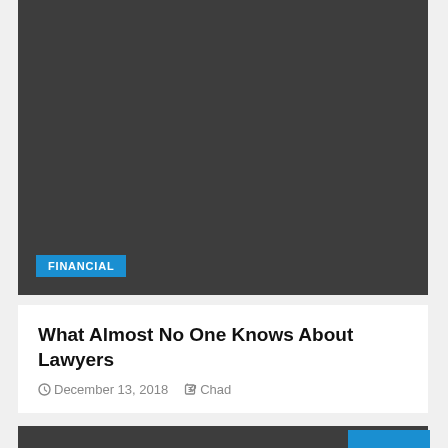[Figure (photo): Dark gray rectangular image area at the top of the card]
FINANCIAL
What Almost No One Knows About Lawyers
December 13, 2018   Chad
[Figure (photo): Dark gray rectangular image area at the bottom of the page with a blue scroll-to-top button]
[Figure (other): Blue scroll-to-top button with upward chevron arrow]